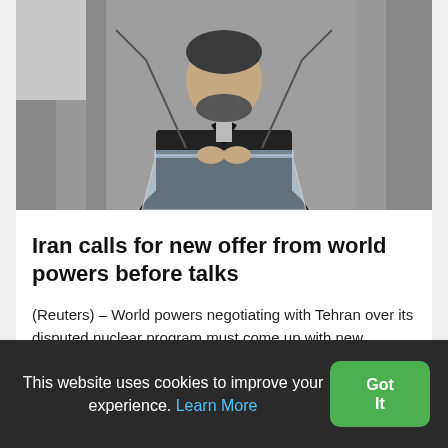[Figure (photo): A person in a dark suit standing at a transparent podium/lectern with microphones, photographed from the chest up against a grey curtain background.]
Iran calls for new offer from world powers before talks
(Reuters) – World powers negotiating with Tehran over its disputed nuclear program must come up with new proposals before talks in Geneva...
Continue | October 6, 2013
This website uses cookies to improve your experience. Learn More